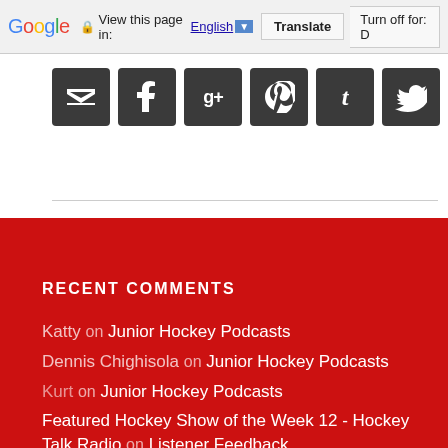Google | View this page in: English | Translate | Turn off for: D
[Figure (screenshot): Social sharing icons bar: email (envelope), Facebook (f), Google+ (g+), Pinterest (p), Tumblr (t), Twitter (bird) — dark rounded square buttons on white background]
RECENT COMMENTS
Katty on Junior Hockey Podcasts
Dennis Chighisola on Junior Hockey Podcasts
Kurt on Junior Hockey Podcasts
Featured Hockey Show of the Week 12 - Hockey Talk Radio on Listener Feedback